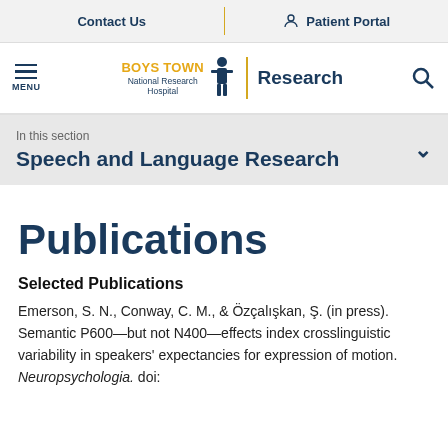Contact Us | Patient Portal
[Figure (logo): Boys Town National Research Hospital logo with hamburger menu, Research link, and search icon]
In this section
Speech and Language Research
Publications
Selected Publications
Emerson, S. N., Conway, C. M., & Özçalışkan, Ş. (in press). Semantic P600—but not N400—effects index crosslinguistic variability in speakers' expectancies for expression of motion. Neuropsychologia. doi: